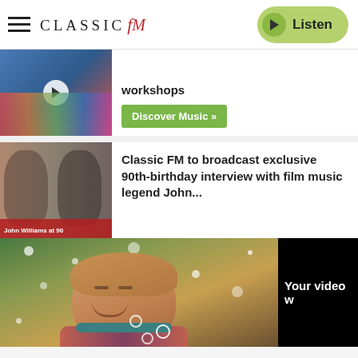CLASSIC FM — Listen
workshops
Discover Music »
Classic FM to broadcast exclusive 90th-birthday interview with film music legend John...
[Figure (screenshot): Video frame showing a young boy looking upward with snow/bokeh effect, and a black panel on the right reading 'Your video w...']